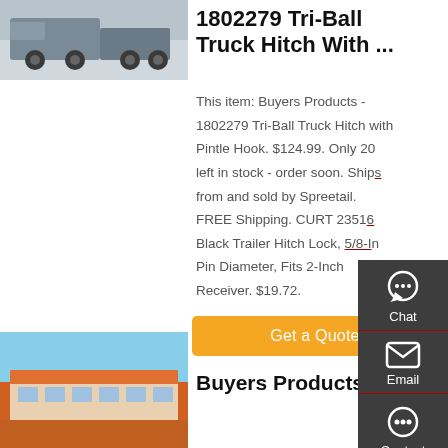[Figure (photo): Truck photo showing a large truck from the rear/side]
1802279 Tri-Ball Truck Hitch With ...
This item: Buyers Products - 1802279 Tri-Ball Truck Hitch with Pintle Hook. $124.99. Only 20 left in stock - order soon. Ships from and sold by Spreetail. FREE Shipping. CURT 23516 Black Trailer Hitch Lock, 5/8-In Pin Diameter, Fits 2-Inch Receiver. $19.72.
[Figure (photo): Building exterior photo with orange and blue signage]
Buyers Products |